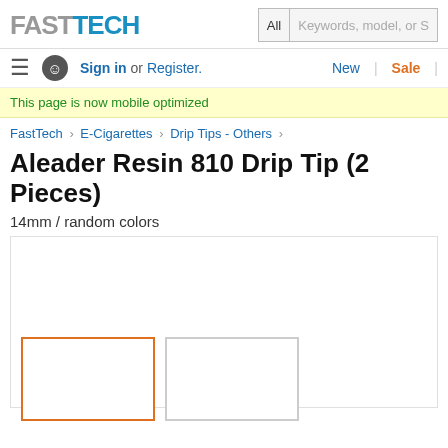FASTTECH | All | Keywords, model, or S
Sign in or Register. | New | Sale
This page is now mobile optimized
FastTech › E-Cigarettes › Drip Tips - Others ›
Aleader Resin 810 Drip Tip (2 Pieces)
14mm / random colors
[Figure (photo): Product image area with two thumbnail placeholders, first selected with orange border]